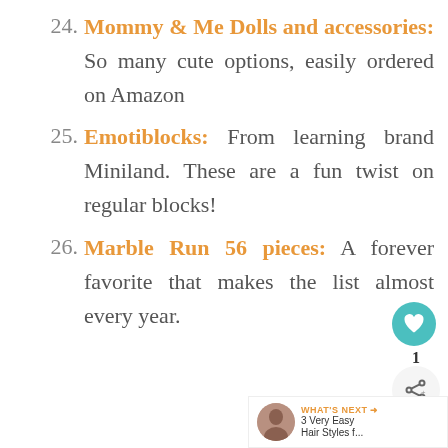24. Mommy & Me Dolls and accessories: So many cute options, easily ordered on Amazon
25. Emotiblocks: From learning brand Miniland. These are a fun twist on regular blocks!
26. Marble Run 56 pieces: A forever favorite that makes the list almost every year.